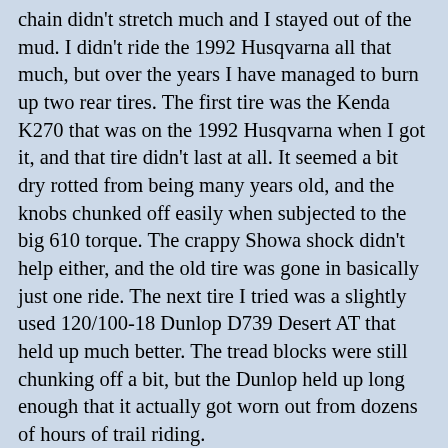chain didn't stretch much and I stayed out of the mud. I didn't ride the 1992 Husqvarna all that much, but over the years I have managed to burn up two rear tires. The first tire was the Kenda K270 that was on the 1992 Husqvarna when I got it, and that tire didn't last at all. It seemed a bit dry rotted from being many years old, and the knobs chunked off easily when subjected to the big 610 torque. The crappy Showa shock didn't help either, and the old tire was gone in basically just one ride. The next tire I tried was a slightly used 120/100-18 Dunlop D739 Desert AT that held up much better. The tread blocks were still chunking off a bit, but the Dunlop held up long enough that it actually got worn out from dozens of hours of trail riding.
As soon as the rusty old chain was out to 12.58" over a 20 link length the aluminum rear sprocket started to show signs of wear. It turns out that a lot of the problems I had had years ago with aluminum sprockets failing abruptly was that I was going by the chain maintenance recommendations in the 1991 Husqvarna